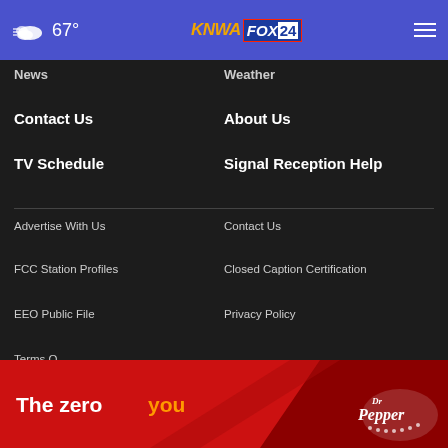67° KNWA FOX24 [hamburger menu]
News
Weather
Contact Us
About Us
TV Schedule
Signal Reception Help
Advertise With Us
Contact Us
FCC Station Profiles
Closed Caption Certification
EEO Public File
Privacy Policy
Terms O[f Use]
[Figure (screenshot): Dr Pepper advertisement banner: 'The zero you' with Dr Pepper logo on red background]